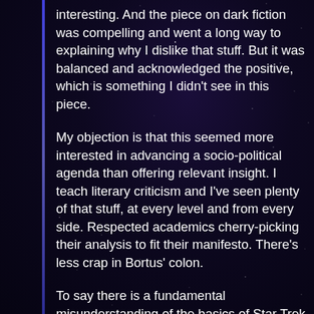interesting. And the piece on dark fiction was compelling and went a long way to explaining why I dislike that stuff. But it was balanced and acknowledged the positive, which is something I didn't see in this piece.
My objection is that this seemed more interested in advancing a socio-political agenda than offering relevant insight. I teach literary criticism and I've seen plenty of that stuff, at every level and from every side. Respected academics cherry-picking their analysis to fit their manifesto. There's less crap in Bortus' colon.
To say there is a fundamental misunderstanding of the basics of Star Trek is naive. I, too, watched